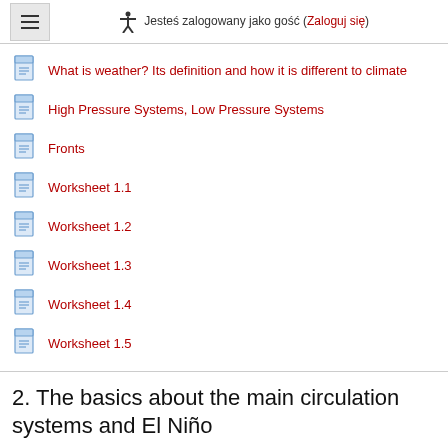Jesteś zalogowany jako gość (Zaloguj się)
What is weather? Its definition and how it is different to climate
High Pressure Systems, Low Pressure Systems
Fronts
Worksheet 1.1
Worksheet 1.2
Worksheet 1.3
Worksheet 1.4
Worksheet 1.5
2. The basics about the main circulation systems and El Niño